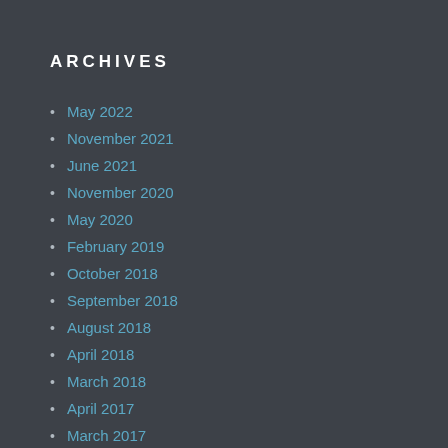ARCHIVES
May 2022
November 2021
June 2021
November 2020
May 2020
February 2019
October 2018
September 2018
August 2018
April 2018
March 2018
April 2017
March 2017
August 2016
April 2016